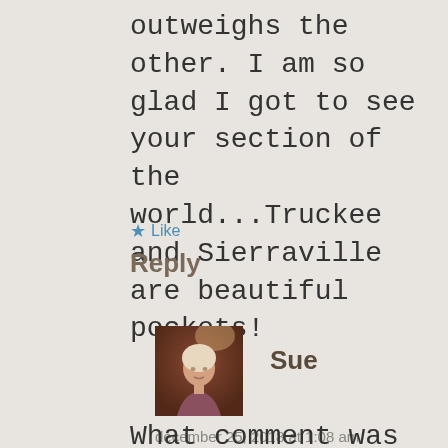outweighs the other. I am so glad I got to see your section of the world...Truckee and Sierraville are beautiful pockets!
★ Like
Reply
[Figure (photo): Profile photo of Sue - woman with light hair in a warm-lit indoor setting]
Sue
december 25, 2018 at 1:08 am
What comment was that Pam